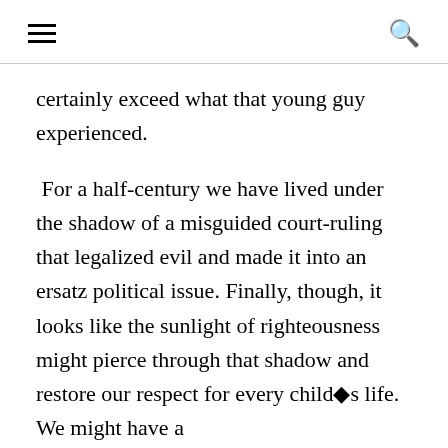≡  🔍
certainly exceed what that young guy experienced.
For a half-century we have lived under the shadow of a misguided court-ruling that legalized evil and made it into an ersatz political issue. Finally, though, it looks like the sunlight of righteousness might pierce through that shadow and restore our respect for every child�s life. We might have a